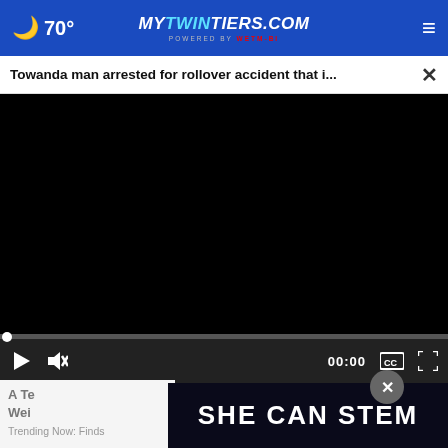70° mytwintiers.com
Towanda man arrested for rollover accident that i...
[Figure (screenshot): Black video player area with playback controls showing 00:00 timecode, play button, mute button, captions button, and fullscreen button on a dark gray control bar]
A Te... Wei...
Trending Now: Finds
SHE CAN STEM